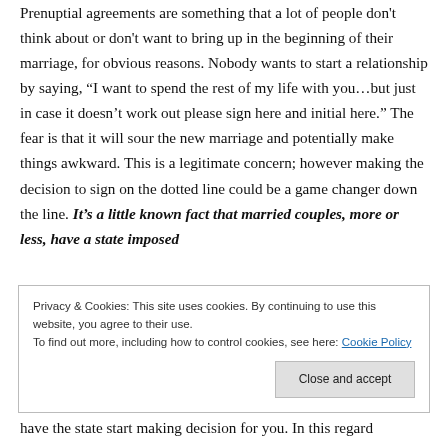Prenuptial agreements are something that a lot of people don't think about or don't want to bring up in the beginning of their marriage, for obvious reasons. Nobody wants to start a relationship by saying, “I want to spend the rest of my life with you…but just in case it doesn’t work out please sign here and initial here.” The fear is that it will sour the new marriage and potentially make things awkward. This is a legitimate concern; however making the decision to sign on the dotted line could be a game changer down the line. It’s a little known fact that married couples, more or less, have a state imposed
Privacy & Cookies: This site uses cookies. By continuing to use this website, you agree to their use. To find out more, including how to control cookies, see here: Cookie Policy
Close and accept
have the state start making decision for you. In this regard